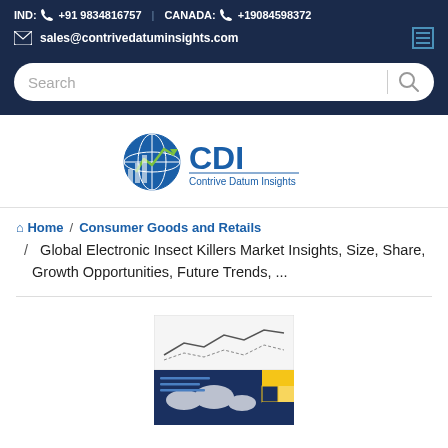IND: +91 9834816757 | CANADA: +19084598372
sales@contrivedatuminsights.com
[Figure (logo): CDI - Contrive Datum Insights logo with globe and chart icon]
Home / Consumer Goods and Retails / Global Electronic Insect Killers Market Insights, Size, Share, Growth Opportunities, Future Trends, ...
[Figure (photo): Market research report cover image thumbnail with line chart and world map]